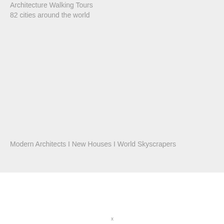Architecture Walking Tours
82 cities around the world
Modern Architects I New Houses I World Skyscrapers
x